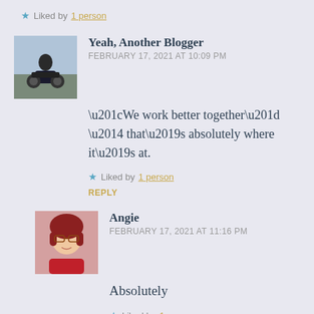★ Liked by 1 person
[Figure (photo): Avatar photo of Yeah Another Blogger - person on motorcycle outdoors]
Yeah, Another Blogger
FEBRUARY 17, 2021 AT 10:09 PM
“We work better together” — that’s absolutely where it’s at.
★ Liked by 1 person
REPLY
[Figure (photo): Avatar photo of Angie - woman with red hair and glasses wearing red top]
Angie
FEBRUARY 17, 2021 AT 11:16 PM
Absolutely
★ Liked by 1 person